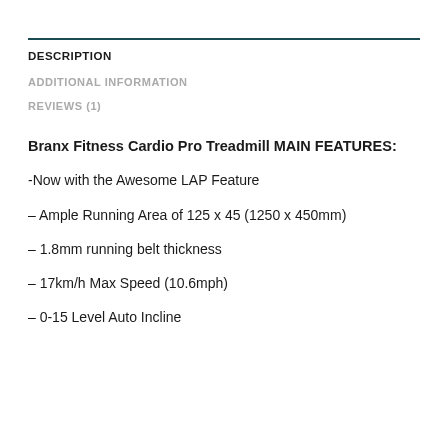DESCRIPTION
ADDITIONAL INFORMATION
REVIEWS (1)
Branx Fitness Cardio Pro Treadmill MAIN FEATURES:
-Now with the Awesome LAP Feature
– Ample Running Area of 125 x 45 (1250 x 450mm)
– 1.8mm running belt thickness
– 17km/h Max Speed (10.6mph)
– 0-15 Level Auto Incline